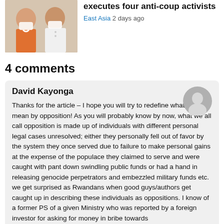[Figure (photo): Two people wearing surgical masks, one in orange shirt, one in white shirt — article thumbnail photo]
executes four anti-coup activists
East Asia  2 days ago
4 comments
David Kayonga
Thanks for the article – I hope you will try to redefine what you mean by opposition! As you will probably know by now, what we all call opposition is made up of individuals with different personal legal cases unresolved; either they personally fell out of favor by the system they once served due to failure to make personal gains at the expense of the populace they claimed to serve and were caught with pant down swindling public funds or had a hand in releasing genocide perpetrators and embezzled military funds etc. we get surprised as Rwandans when good guys/authors get caught up in describing these individuals as oppositions. I know of a former PS of a given Ministry who was reported by a foreign investor for asking for money in bribe towards